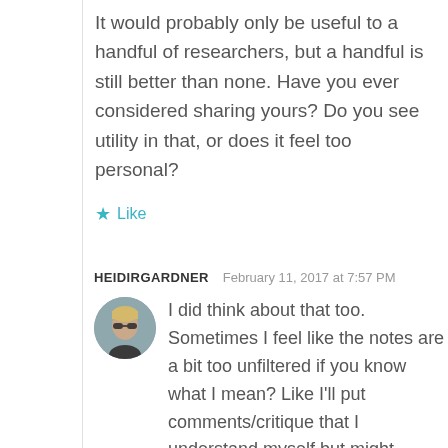It would probably only be useful to a handful of researchers, but a handful is still better than none. Have you ever considered sharing yours? Do you see utility in that, or does it feel too personal?
★ Like
HEIDIRGARDNER   February 11, 2017 at 7:57 PM
[Figure (photo): Circular avatar photo of a person with short blonde hair wearing sunglasses]
I did think about that too. Sometimes I feel like the notes are a bit too unfiltered if you know what I mean? Like I'll put comments/critique that I understand myself but might sound